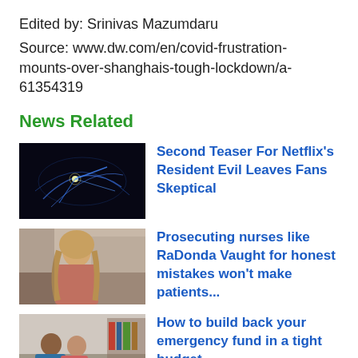Edited by: Srinivas Mazumdaru
Source: www.dw.com/en/covid-frustration-mounts-over-shanghais-tough-lockdown/a-61354319
News Related
[Figure (photo): Dark background with glowing blue light streaks, abstract sci-fi style image]
Second Teaser For Netflix's Resident Evil Leaves Fans Skeptical
[Figure (photo): Young woman with long blonde hair sitting and looking thoughtful, indoor setting]
Prosecuting nurses like RaDonda Vaught for honest mistakes won't make patients...
[Figure (photo): Couple sitting together looking at a laptop, indoor setting with bookshelves]
How to build back your emergency fund in a tight budget